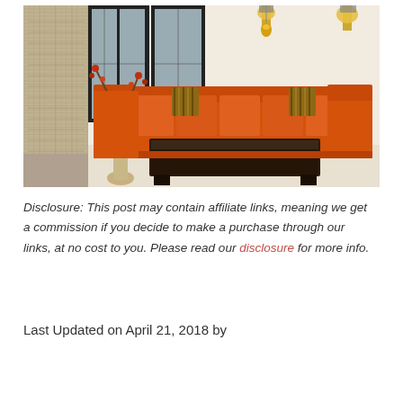[Figure (photo): Living room interior with an orange sectional sofa, dark wood coffee table, decorative vase with branches, pendant lights, wall sconces, and a textured stone/concrete wall on the left side.]
Disclosure: This post may contain affiliate links, meaning we get a commission if you decide to make a purchase through our links, at no cost to you. Please read our disclosure for more info.
Last Updated on April 21, 2018 by